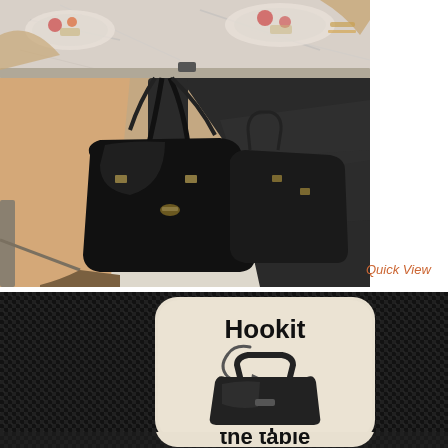[Figure (photo): Two women sitting at a restaurant table dining, with a black leather handbag hanging from a purse hook attached to the underside of the table. View is from waist/knees down, showing legs, handbag, and table edge.]
Quick View
[Figure (logo): Hookit under the table logo: a rounded square with beige/cream background on a dark woven fabric/mesh background. Inside the rounded square is bold text 'Hookit' at the top, an icon of a handbag with a hook, and text 'under the table' below.]